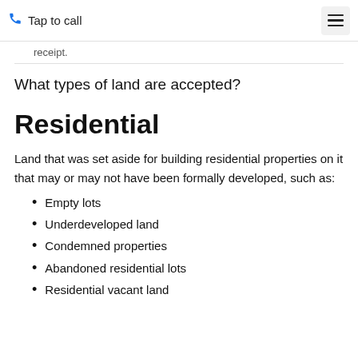Tap to call
receipt.
What types of land are accepted?
Residential
Land that was set aside for building residential properties on it that may or may not have been formally developed, such as:
Empty lots
Underdeveloped land
Condemned properties
Abandoned residential lots
Residential vacant land